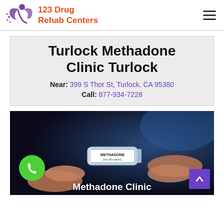123 Drug Rehab Centers
Turlock Methadone Clinic Turlock
Near: 399 S Thor St, Turlock, CA 95380
Call: 877-934-7228
[Figure (photo): Hands holding a small methadone vial labeled 'METHADONE 2ml 100 units/mL' against a dark blurred background. A green phone icon button is in the lower left and a purple up-arrow button in the lower right. Text overlay reads 'Methadone Clinic'.]